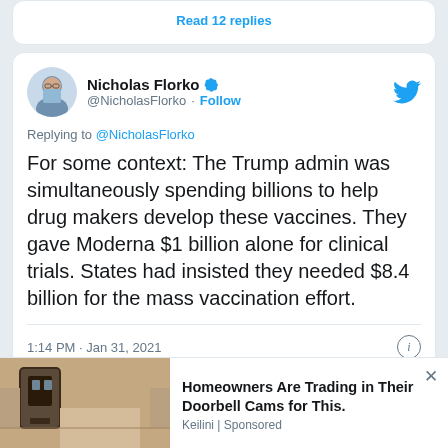Read 12 replies
Nicholas Florko @NicholasFlorko · Follow
Replying to @NicholasFlorko
For some context: The Trump admin was simultaneously spending billions to help drug makers develop these vaccines. They gave Moderna $1 billion alone for clinical trials. States had insisted they needed $8.4 billion for the mass vaccination effort.
1:14 PM · Jan 31, 2021
Homeowners Are Trading in Their Doorbell Cams for This. Keilini | Sponsored